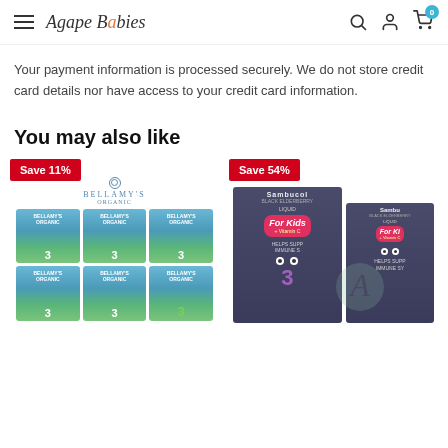Agape Babies
Your payment information is processed securely. We do not store credit card details nor have access to your credit card information.
You may also like
[Figure (photo): Bellamy's Organic product cans (stage 3) shown in a 2x3 grid with Save 11% badge]
[Figure (photo): Sambucol For Kids Vitamin C liquid products with Save 54% badge]